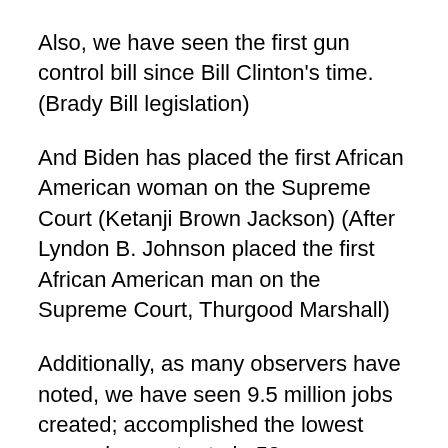Also, we have seen the first gun control bill since Bill Clinton's time. (Brady Bill legislation)
And Biden has placed the first African American woman on the Supreme Court (Ketanji Brown Jackson) (After Lyndon B. Johnson placed the first African American man on the Supreme Court, Thurgood Marshall)
Additionally, as many observers have noted, we have seen 9.5 million jobs created; accomplished the lowest unemployment rate in 50 years; forced the rich and corporations to pay their fair share of taxes; lowered drug prices and general health care costs, including insulin costs for Medicare recipients; lowered the national debt; confirmed the most diverse set of judges to the federal bench; accomplished the Infrastructure